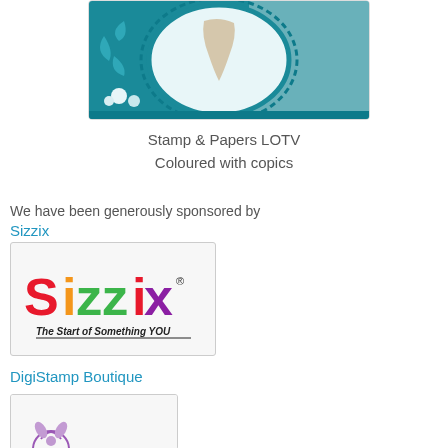[Figure (photo): Craft card with teal/turquoise decorative oval frame featuring a fairy or mermaid character, with flowers and patterned paper background]
Stamp & Papers LOTV
Coloured with copics
We have been generously sponsored by
Sizzix
[Figure (logo): Sizzix logo - colorful text logo reading 'Sizzix - The Start of Something YOU']
DigiStamp Boutique
[Figure (logo): DigiStamp Boutique logo - partially visible at bottom of page]